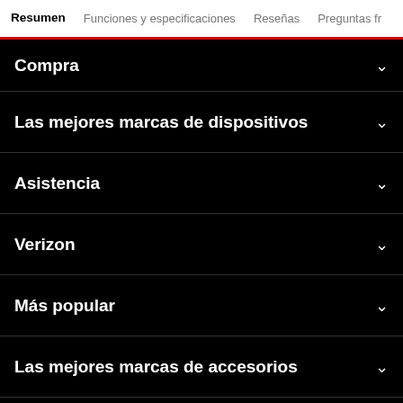Resumen  Funciones y especificaciones  Reseñas  Preguntas fr
Compra
Las mejores marcas de dispositivos
Asistencia
Verizon
Más popular
Las mejores marcas de accesorios
Información importante para el consumidor
Sigue a Verizon